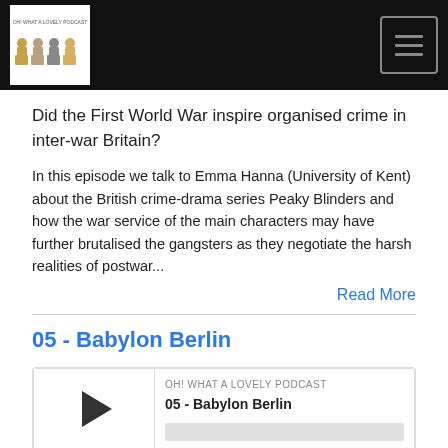OH! WHAT A LOVELY PODCAST
Did the First World War inspire organised crime in inter-war Britain?
In this episode we talk to Emma Hanna (University of Kent) about the British crime-drama series Peaky Blinders and how the war service of the main characters may have further brutalised the gangsters as they negotiate the harsh realities of postwar...
Read More
05 - Babylon Berlin
[Figure (other): Podcast player widget for episode '05 - Babylon Berlin' from OH! WHAT A LOVELY PODCAST. Shows a play button on the left, episode title and progress bar on the right, with controls showing time 00:00:00 and media icons (RSS, download, embed, headphones).]
Jul 1, 2020